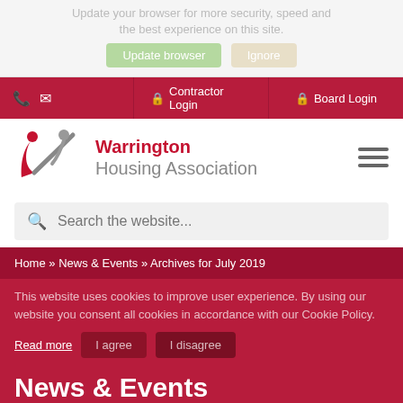Update your browser for more security, speed and the best experience on this site.
Update browser | Ignore
[Figure (logo): Warrington Housing Association logo with stylized figures and checkmark]
Warrington Housing Association
Search the website...
Home » News & Events » Archives for July 2019
This website uses cookies to improve user experience. By using our website you consent all cookies in accordance with our Cookie Policy.
News & Events